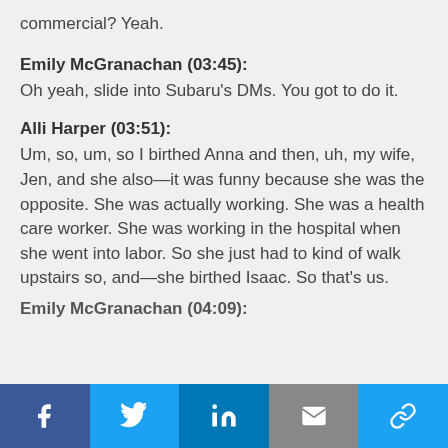commercial? Yeah.
Emily McGranachan (03:45):
Oh yeah, slide into Subaru's DMs. You got to do it.
Alli Harper (03:51):
Um, so, um, so I birthed Anna and then, uh, my wife, Jen, and she also—it was funny because she was the opposite. She was actually working. She was a health care worker. She was working in the hospital when she went into labor. So she just had to kind of walk upstairs so, and—she birthed Isaac. So that's us.
Emily McGranachan (04:09):
Social share bar: Facebook, Twitter, LinkedIn, Email, Link